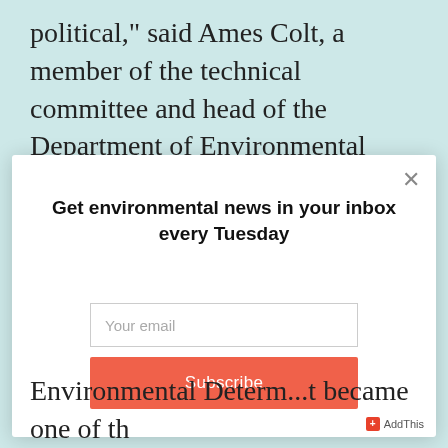political," said Ames Colt, a member of the technical committee and head of the Department of Environmental
[Figure (screenshot): Modal popup overlay with white background. Contains a close button (×) in top right, bold heading 'Get environmental news in your inbox every Tuesday', an email input field with placeholder 'Your email', an orange Subscribe button, and an AddThis logo in the bottom right corner.]
Environmental Determ...t became one of the